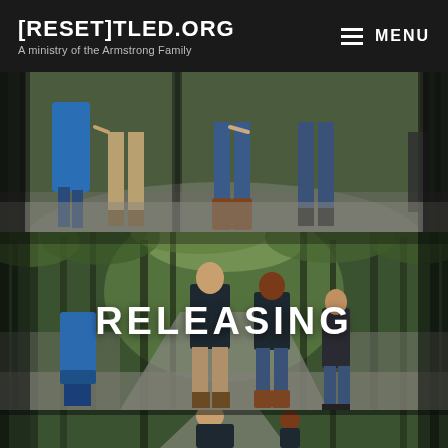[RESET]TLED.ORG — A ministry of the Armstrong Family — MENU
[Figure (photo): Family walking together on a wooded path, shown from waist down: person in blue dress, person in tan pants, person in jeans with brown boots, person in jeans. Mossy forest background.]
[Figure (photo): Same family walking on a wooded path through tall trees, seen from behind. The word RELEASING is overlaid in large white bold text near the center-bottom of the image.]
[Figure (photo): Bottom portion of the same wooded path photo, showing the top of the scene continuing below.]